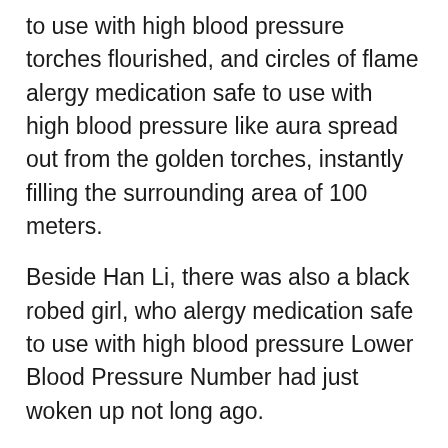to use with high blood pressure torches flourished, and circles of flame alergy medication safe to use with high blood pressure like aura spread out from the golden torches, instantly filling the surrounding area of 100 meters.
Beside Han Li, there was also a black robed girl, who alergy medication safe to use with high blood pressure Lower Blood Pressure Number had just woken up not long ago.
Senior rented this water mansion, is it possible that you want alergy medication safe to use with high blood pressure...